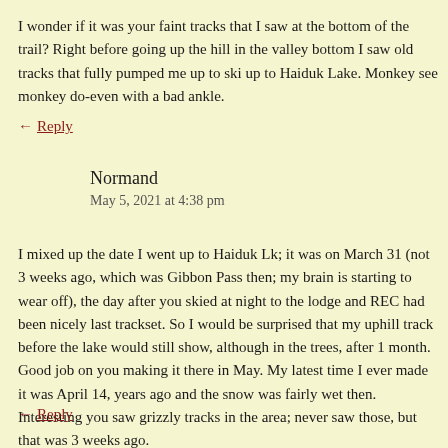I wonder if it was your faint tracks that I saw at the bottom of the trail? Right before going up the hill in the valley bottom I saw old tracks that fully pumped me up to ski up to Haiduk Lake. Monkey see monkey do-even with a bad ankle.
↵ Reply
Normand
May 5, 2021 at 4:38 pm
I mixed up the date I went up to Haiduk Lk; it was on March 31 (not 3 weeks ago, which was Gibbon Pass then; my brain is starting to wear off), the day after you skied at night to the lodge and REC had been nicely last trackset. So I would be surprised that my uphill track before the lake would still show, although in the trees, after 1 month. Good job on you making it there in May. My latest time I ever made it was April 14, years ago and the snow was fairly wet then. Interesting you saw grizzly tracks in the area; never saw those, but that was 3 weeks ago.
↵ Reply